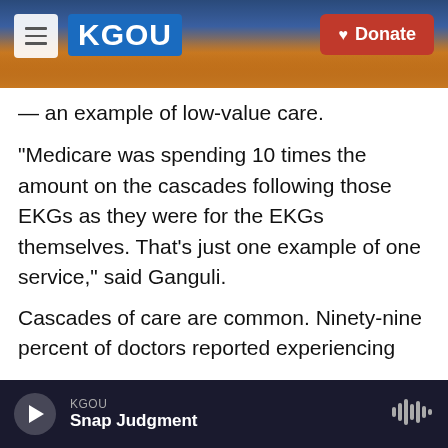[Figure (screenshot): KGOU radio website header with navigation menu button, KGOU blue logo, city skyline background photo, and red Donate button]
— an example of low-value care.
"Medicare was spending 10 times the amount on the cascades following those EKGs as they were for the EKGs themselves. That's just one example of one service," said Ganguli.
Cascades of care are common. Ninety-nine percent of doctors reported experiencing one after an incidental finding, according to a survey conducted by Ganguli. Nearly 9 in 10 physicians said they'd seen a cascade harm a patient, for example, physically or financially.
KGOU
Snap Judgment